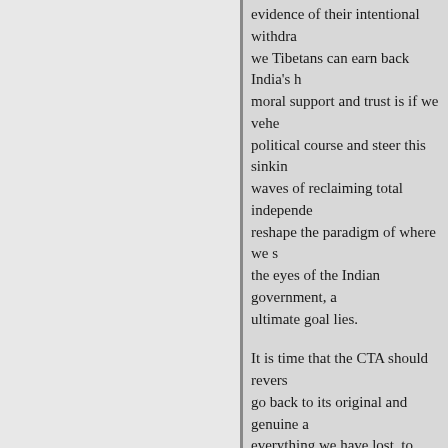evidence of their intentional withdra- we Tibetans can earn back India's h- moral support and trust is if we vehe- political course and steer this sinkin- waves of reclaiming total independe- reshape the paradigm of where we s- the eyes of the Indian government, a- ultimate goal lies.
It is time that the CTA should revers- go back to its original and genuine a- everything we have lost, to follow th- of Tibet being once an independent - more. The only strong answer to Ch- reaffirmation of our calls for comple- We must send them a strong messag- one of their ethnic minorities, but p- once ruled over their subservience.
https://www.tibetsun.com/opinion -to-save-the-sinking-ship-of-the-t